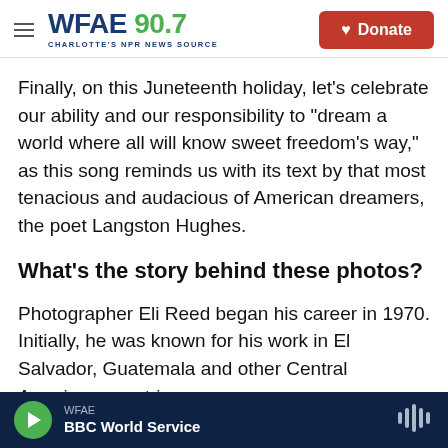WFAE 90.7 Charlotte's NPR News Source | Donate
Finally, on this Juneteenth holiday, let's celebrate our ability and our responsibility to "dream a world where all will know sweet freedom's way," as this song reminds us with its text by that most tenacious and audacious of American dreamers, the poet Langston Hughes.
What's the story behind these photos?
Photographer Eli Reed began his career in 1970. Initially, he was known for his work in El Salvador, Guatemala and other Central American countries.
WFAE | BBC World Service